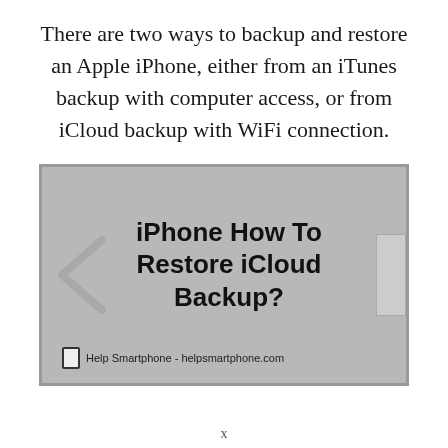There are two ways to backup and restore an Apple iPhone, either from an iTunes backup with computer access, or from iCloud backup with WiFi connection.
[Figure (screenshot): A thumbnail image with bold text reading 'iPhone How To Restore iCloud Backup?' on a grey background, with a chevron arrow on the left, a scroll bar on the right, and a footer watermark 'Help Smartphone - helpsmartphone.com'.]
x